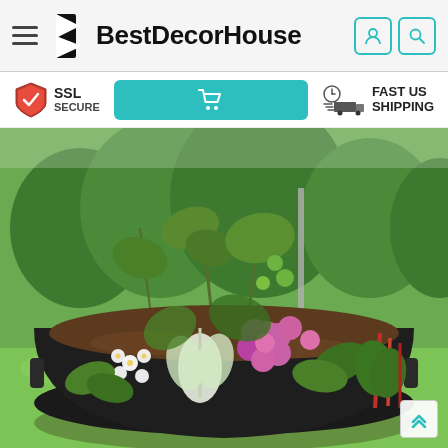BestDecorHouse
[Figure (logo): BestDecorHouse logo with stylized B icon]
[Figure (infographic): Sub-header bar with SSL Secure badge, teal cart button, and Fast US Shipping badge with truck icon]
[Figure (photo): Large round black fabric raised garden bed planter filled with various vegetables, flowers (white and pink/purple), tomato plants, and leafy greens, set on green grass lawn with trees in background]